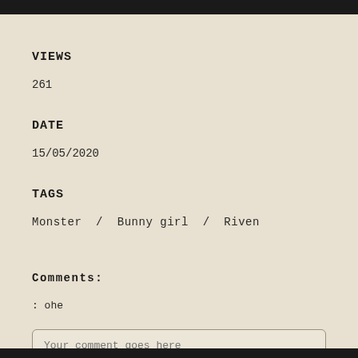VIEWS
261
DATE
15/05/2020
TAGS
Monster  /  Bunny girl  /  Riven
Comments:
: ohe
Your comment goes here